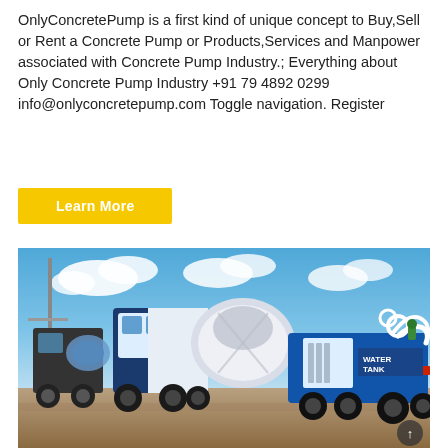OnlyConcretePump is a first kind of unique concept to Buy,Sell or Rent a Concrete Pump or Products,Services and Manpower associated with Concrete Pump Industry.; Everything about Only Concrete Pump Industry +91 79 4892 0299 info@onlyconcretepump.com Toggle navigation. Register
Learn More
[Figure (photo): Photograph of blue and white concrete mixer trucks and construction equipment parked on a dirt site under a blue sky with white clouds. A blue self-loading concrete mixer with 'WATER TANK' label and white hoses is prominently in the foreground right. A larger concrete transit mixer truck is in the center-background.]